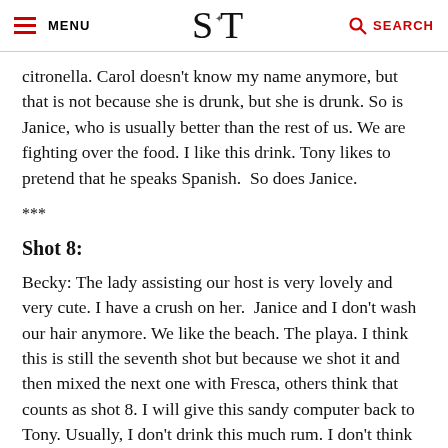MENU | S T | SEARCH
citronella. Carol doesn't know my name anymore, but that is not because she is drunk, but she is drunk. So is Janice, who is usually better than the rest of us. We are fighting over the food. I like this drink. Tony likes to pretend that he speaks Spanish.  So does Janice.
***
Shot 8:
Becky: The lady assisting our host is very lovely and very cute. I have a crush on her.  Janice and I don't wash our hair anymore. We like the beach. The playa. I think this is still the seventh shot but because we shot it and then mixed the next one with Fresca, others think that counts as shot 8. I will give this sandy computer back to Tony. Usually, I don't drink this much rum. I don't think that I really have had much rum.